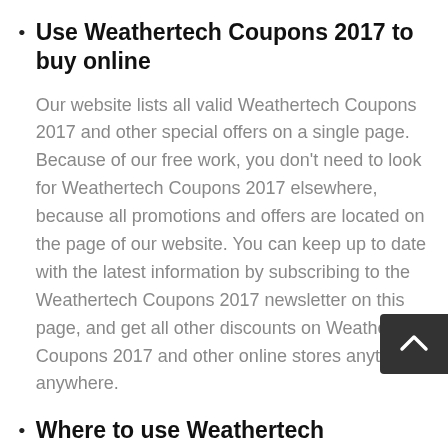Use Weathertech Coupons 2017 to buy online
Our website lists all valid Weathertech Coupons 2017 and other special offers on a single page. Because of our free work, you don't need to look for Weathertech Coupons 2017 elsewhere, because all promotions and offers are located on the page of our website. You can keep up to date with the latest information by subscribing to the Weathertech Coupons 2017 newsletter on this page, and get all other discounts on Weathertech Coupons 2017 and other online stores anytime, anywhere.
Where to use Weathertech Coupons 2017?
Before making the payment, enter the promo code you copied in the "Redeem Discount Coupon", "Discount Code" or "Promotion Code" section and